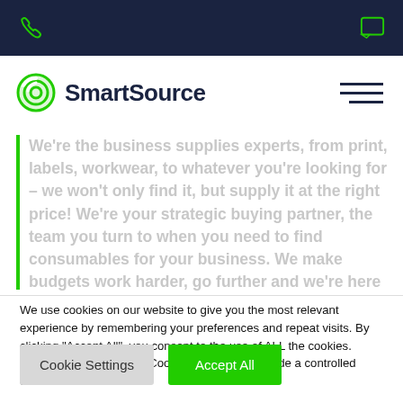SmartSource navigation header with phone and chat icons
[Figure (logo): SmartSource logo with green concentric circle icon and dark navy bold text]
We're the business supplies experts, from print, labels, workwear, to whatever you're looking for – we won't only find it, but supply it at the right price! We're your strategic buying partner, the team you turn to when you need to find consumables for your business. We make budgets work harder, go further and we're here to serve your business by taking the thinking out of buying.
We use cookies on our website to give you the most relevant experience by remembering your preferences and repeat visits. By clicking "Accept All", you consent to the use of ALL the cookies. However, you may visit "Cookie Settings" to provide a controlled consent.
Cookie Settings | Accept All